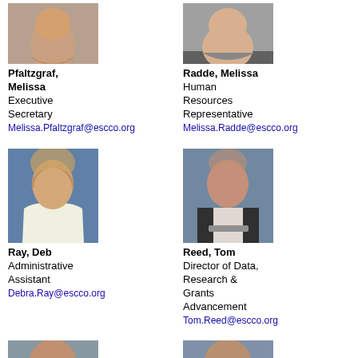[Figure (photo): Portrait photo of Melissa Pfaltzgraf, cropped at top]
Pfaltzgraf, Melissa
Executive Secretary
Melissa.Pfaltzgraf@escco.org
[Figure (photo): Portrait photo of Melissa Radde, cropped at top]
Radde, Melissa
Human Resources Representative
Melissa.Radde@escco.org
[Figure (photo): Portrait photo of Deb Ray]
Ray, Deb
Administrative Assistant
Debra.Ray@escco.org
[Figure (photo): Portrait photo of Tom Reed]
Reed, Tom
Director of Data, Research & Grants Advancement
Tom.Reed@escco.org
[Figure (photo): Partial portrait photo, bottom of page left]
[Figure (photo): Partial portrait photo, bottom of page right]